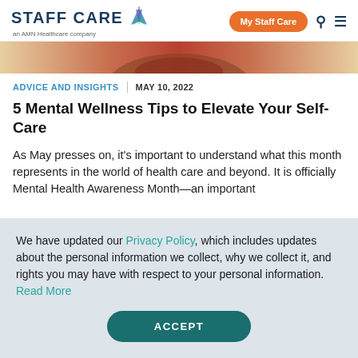STAFF CARE an AMN Healthcare company | My Staff Care
[Figure (photo): Partial hero image showing top of a person's head with reddish/tan background]
ADVICE AND INSIGHTS | MAY 10, 2022
5 Mental Wellness Tips to Elevate Your Self-Care
As May presses on, it's important to understand what this month represents in the world of health care and beyond. It is officially Mental Health Awareness Month—an important
We have updated our Privacy Policy, which includes updates about the personal information we collect, why we collect it, and rights you may have with respect to your personal information. Read More
ACCEPT